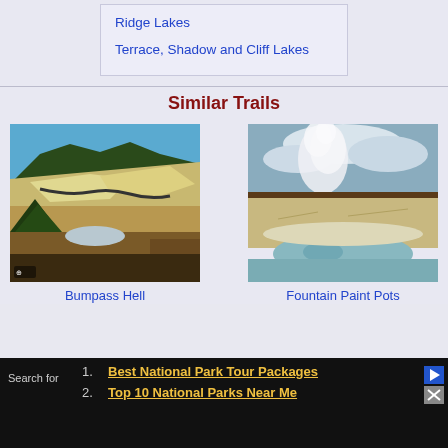Ridge Lakes
Terrace, Shadow and Cliff Lakes
Similar Trails
[Figure (photo): Bumpass Hell trail — volcanic landscape with white sulfurous rock, winding path, blue sky, forested ridgeline]
Bumpass Hell
[Figure (photo): Fountain Paint Pots — geyser steam cloud rising over mineral-rich thermal pools, light blue sky with clouds]
Fountain Paint Pots
Search for
1. Best National Park Tour Packages
2. Top 10 National Parks Near Me